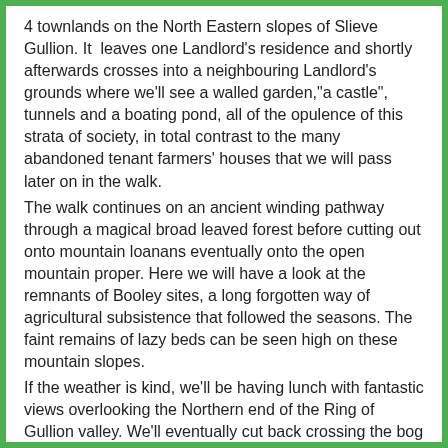4 townlands on the North Eastern slopes of Slieve Gullion. It leaves one Landlord's residence and shortly afterwards crosses into a neighbouring Landlord's grounds where we'll see a walled garden,"a castle", tunnels and a boating pond, all of the opulence of this strata of society, in total contrast to the many abandoned tenant farmers' houses that we will pass later on in the walk.
The walk continues on an ancient winding pathway through a magical broad leaved forest before cutting out onto mountain loanans eventually onto the open mountain proper. Here we will have a look at the remnants of Booley sites, a long forgotten way of agricultural subsistence that followed the seasons. The faint remains of lazy beds can be seen high on these mountain slopes.
If the weather is kind, we'll be having lunch with fantastic views overlooking the Northern end of the Ring of Gullion valley. We'll eventually cut back crossing the bog by "a kesh" and home by the "march" wall that marks the boundary between mountain and cultivated land.
This will be a one Group walk, roughly 8 km in length with a height gain of around 375 m, expect to be out for